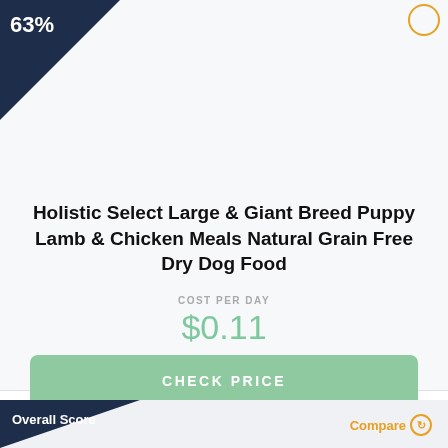63%
Holistic Select Large & Giant Breed Puppy Lamb & Chicken Meals Natural Grain Free Dry Dog Food
COST PER DAY
$0.11
CHECK PRICE
Read Review
Overall Score
Compare